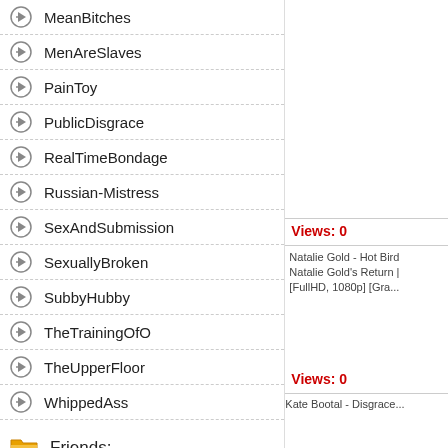MeanBitches
MenAreSlaves
PainToy
PublicDisgrace
RealTimeBondage
Russian-Mistress
SexAndSubmission
SexuallyBroken
SubbyHubby
TheTrainingOfO
TheUpperFloor
WhippedAss
Friends:
Views: 0
Natalie Gold - Hot Bird... Natalie Gold's Return | [FullHD, 1080p] [Gra...
Views: 0
Kate Bootal - Disgrace...